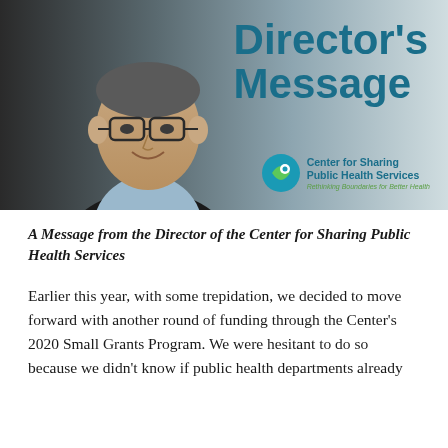[Figure (photo): Photo of a man wearing glasses and a light blue shirt with a dark jacket, smiling. Overlaid with bold teal text reading 'Director's Message' and the Center for Sharing Public Health Services logo in the bottom right.]
A Message from the Director of the Center for Sharing Public Health Services
Earlier this year, with some trepidation, we decided to move forward with another round of funding through the Center's 2020 Small Grants Program. We were hesitant to do so because we didn't know if public health departments already